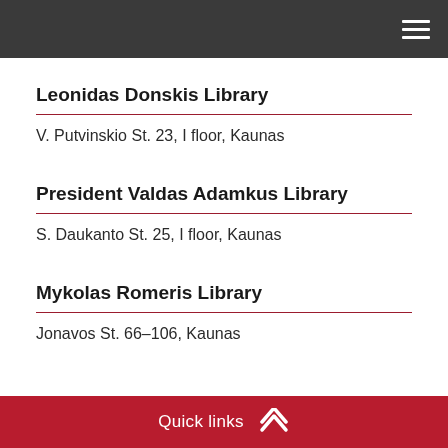Leonidas Donskis Library
V. Putvinskio St. 23, I floor, Kaunas
President Valdas Adamkus Library
S. Daukanto St. 25, I floor, Kaunas
Mykolas Romeris Library
Jonavos St. 66–106, Kaunas
Quick links